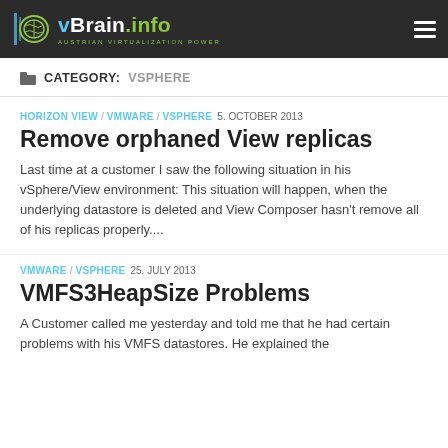vBrain.info — Austrian Virtualization Power
CATEGORY: VSPHERE
HORIZON VIEW / VMWARE / VSPHERE  5. OCTOBER 2013
Remove orphaned View replicas
Last time at a customer I saw the following situation in his vSphere/View environment: This situation will happen, when the underlying datastore is deleted and View Composer hasn't remove all of his replicas properly....
VMWARE / VSPHERE  25. JULY 2013
VMFS3HeapSize Problems
A Customer called me yesterday and told me that he had certain problems with his VMFS datastores. He explained the